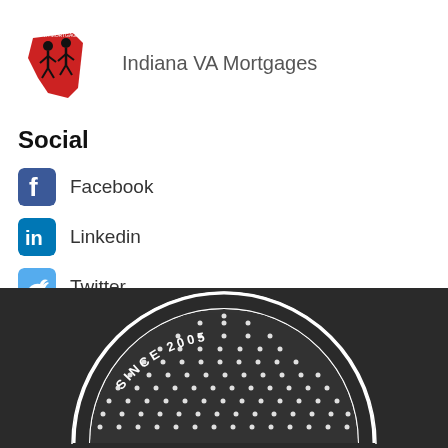[Figure (logo): Indiana VA Mortgages logo with two figures and red Indiana state shape]
Indiana VA Mortgages
Social
Facebook
Linkedin
Twitter
YouTube
[Figure (logo): Circular badge logo with 'SINCE 2005' text arc on dark background, white dotted semicircle design]